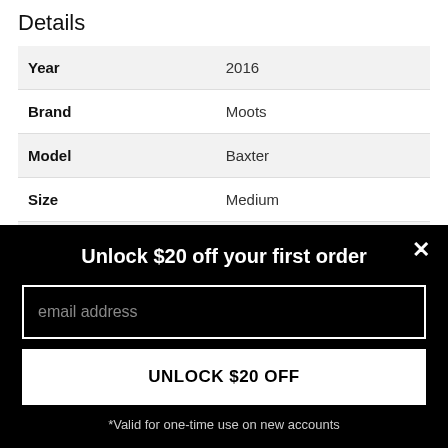Details
| Year | 2016 |
| Brand | Moots |
| Model | Baxter |
| Size | Medium |
| Frame Material | Titanium |
Unlock $20 off your first order
email address
UNLOCK $20 OFF
*Valid for one-time use on new accounts